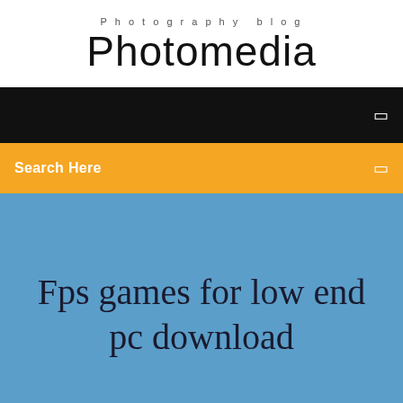Photography blog
Photomedia
☰
Search Here
☰
Fps games for low end pc download